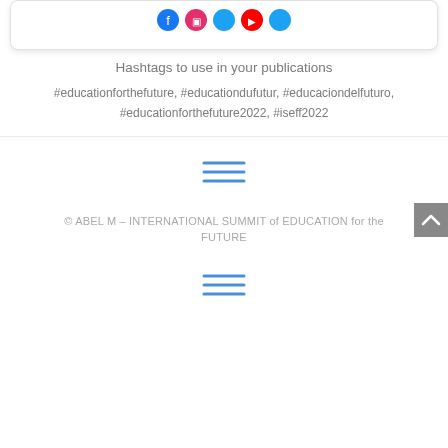Hashtags to use in your publications
#educationforthefuture, #educationdufutur, #educaciondelfuturo, #educationforthefuture2022, #iseff2022
[Figure (other): Hamburger menu icon (three horizontal blue lines)]
© ABEL M – INTERNATIONAL SUMMIT of EDUCATION for the FUTURE
[Figure (other): Hamburger menu icon (three horizontal blue lines)]